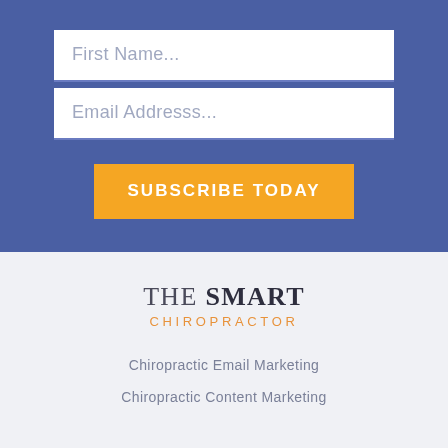First Name...
Email Addresss...
SUBSCRIBE TODAY
[Figure (logo): The Smart Chiropractor logo with 'THE SMART' in serif font and 'CHIROPRACTOR' in orange uppercase letters]
Chiropractic Email Marketing
Chiropractic Content Marketing